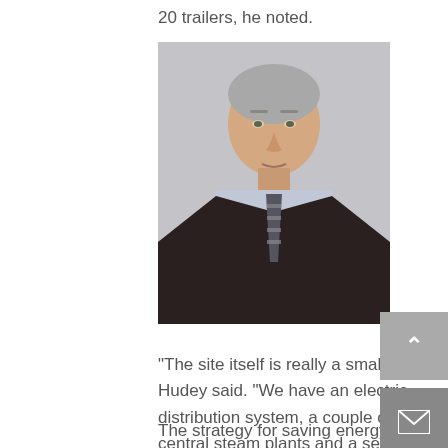20 trailers, he noted.
[Figure (photo): Headshot of an older man with gray hair wearing a dark blazer and striped tie against a light gray background]
“The site itself is really a small city,” Hudey said. “We have an electric distribution system, a couple of central steam plants and a sewage treatment plant on site. We also have a hotel so that when users come on site they can stay the night, continue their research and be close at hand.”
The strategy for saving energy in that